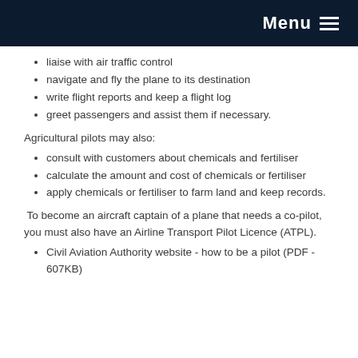Menu
liaise with air traffic control
navigate and fly the plane to its destination
write flight reports and keep a flight log
greet passengers and assist them if necessary.
Agricultural pilots may also:
consult with customers about chemicals and fertiliser
calculate the amount and cost of chemicals or fertiliser
apply chemicals or fertiliser to farm land and keep records.
To become an aircraft captain of a plane that needs a co-pilot, you must also have an Airline Transport Pilot Licence (ATPL).
Civil Aviation Authority website - how to be a pilot (PDF - 607KB)